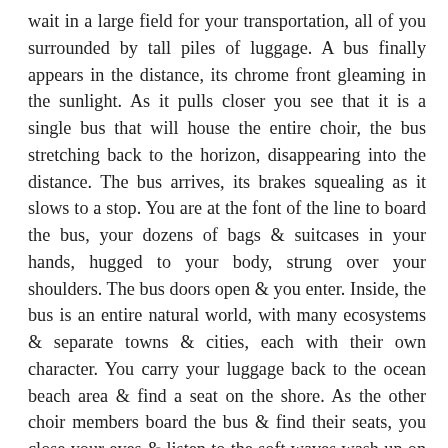wait in a large field for your transportation, all of you surrounded by tall piles of luggage. A bus finally appears in the distance, its chrome front gleaming in the sunlight. As it pulls closer you see that it is a single bus that will house the entire choir, the bus stretching back to the horizon, disappearing into the distance. The bus arrives, its brakes squealing as it slows to a stop. You are at the font of the line to board the bus, your dozens of bags & suitcases in your hands, hugged to your body, strung over your shoulders. The bus doors open & you enter. Inside, the bus is an entire natural world, with many ecosystems & separate towns & cities, each with their own character. You carry your luggage back to the ocean beach area & find a seat on the shore. As the other choir members board the bus & find their seats, you close your eyes & listen to the soft waves wash up on the sand.